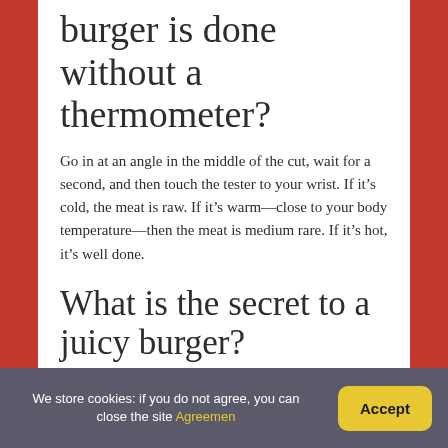burger is done without a thermometer?
Go in at an angle in the middle of the cut, wait for a second, and then touch the tester to your wrist. If it’s cold, the meat is raw. If it’s warm—close to your body temperature—then the meat is medium rare. If it’s hot, it’s well done.
What is the secret to a juicy burger?
Prep Tips for How To Make Juicy Burgers
1. Don’t overwork the meat.
We store cookies: if you do not agree, you can close the site Agreemen   Accept